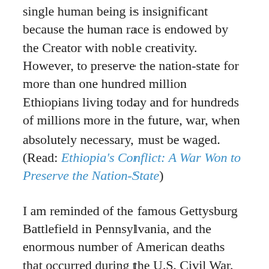single human being is insignificant because the human race is endowed by the Creator with noble creativity. However, to preserve the nation-state for more than one hundred million Ethiopians living today and for hundreds of millions more in the future, war, when absolutely necessary, must be waged. (Read: Ethiopia's Conflict: A War Won to Preserve the Nation-State)
I am reminded of the famous Gettysburg Battlefield in Pennsylvania, and the enormous number of American deaths that occurred during the U.S. Civil War. An estimated 700,000 Americans died during this four yearlong brutal war, of which 50,000 were civilians. President Abraham Lincoln was unyielding in his